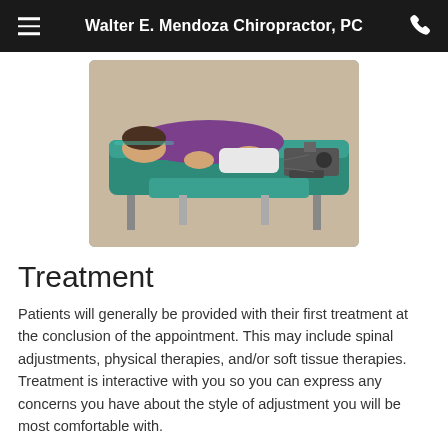Walter E. Mendoza Chiropractor, PC
[Figure (photo): A patient lying face-down on a green chiropractic adjustment table while a chiropractor performs a spinal adjustment. The patient is wearing a purple top and white clothing. Medical equipment visible in the background.]
Treatment
Patients will generally be provided with their first treatment at the conclusion of the appointment. This may include spinal adjustments, physical therapies, and/or soft tissue therapies.  Treatment is interactive with you so you can express any concerns you have about the style of adjustment you will be most comfortable with.